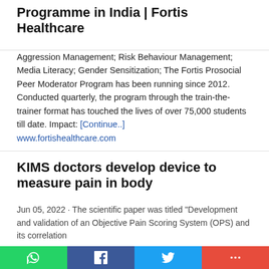Programme in India | Fortis Healthcare
Aggression Management; Risk Behaviour Management; Media Literacy; Gender Sensitization; The Fortis Prosocial Peer Moderator Program has been running since 2012. Conducted quarterly, the program through the train-the-trainer format has touched the lives of over 75,000 students till date. Impact: [Continue..] www.fortishealthcare.com
KIMS doctors develop device to measure pain in body
Jun 05, 2022 · The scientific paper was titled "Development and validation of an Objective Pain Scoring System (OPS) and its correlation